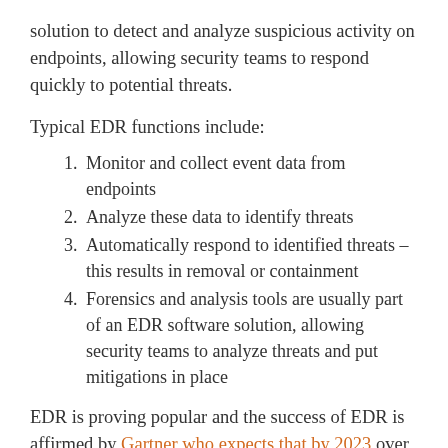solution to detect and analyze suspicious activity on endpoints, allowing security teams to respond quickly to potential threats.
Typical EDR functions include:
Monitor and collect event data from endpoints
Analyze these data to identify threats
Automatically respond to identified threats – this results in removal or containment
Forensics and analysis tools are usually part of an EDR software solution, allowing security teams to analyze threats and put mitigations in place
EDR is proving popular and the success of EDR is affirmed by Gartner who expects that by 2023 over 50% of enterprises will be using advanced anti-virus capabilities, that include endpoint detection and